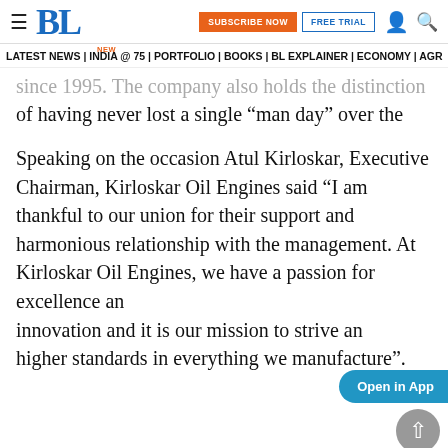BL | SUBSCRIBE NOW | FREE TRIAL | [user icon] [search icon]
LATEST NEWS | INDIA @75 NEW | PORTFOLIO | BOOKS | BL EXPLAINER | ECONOMY | AGR
since 1995. The company also holds the distinction of having never lost a single “man day” over the past 64 years on account of any labour unrest.
Speaking on the occasion Atul Kirloskar, Executive Chairman, Kirloskar Oil Engines said “I am thankful to our union for their support and harmonious relationship with the management. At Kirloskar Oil Engines, we have a passion for excellence and innovation and it is our mission to strive and higher standards in everything we manufacture”.